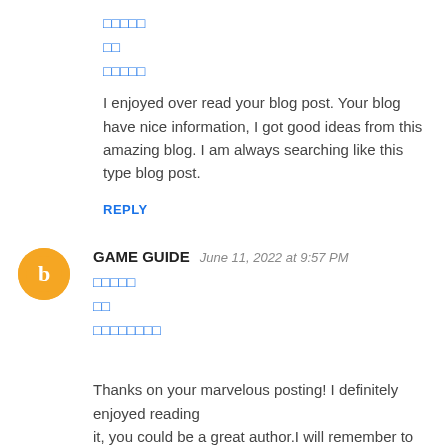□□□□□
□□
□□□□□
I enjoyed over read your blog post. Your blog have nice information, I got good ideas from this amazing blog. I am always searching like this type blog post.
REPLY
GAME GUIDE   June 11, 2022 at 9:57 PM
□□□□□
□□
□□□□□□□□
Thanks on your marvelous posting! I definitely enjoyed reading
it, you could be a great author.I will remember to bookmark
your blog and will often come back very soon. I want to encourage that you continue your great